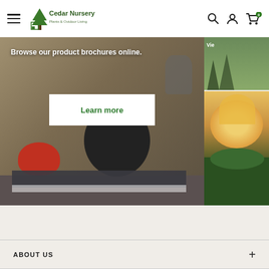Cedar Nursery — Plants & Outdoor Living
[Figure (screenshot): Hero banner showing product brochures with colorful planters/vases on a deck. Text overlay reads 'Browse our product brochures online.' with a 'Learn more' button. Side panel shows partial images of garden and flower.]
ABOUT US
TERMS AND POLICIES
CONTACT US